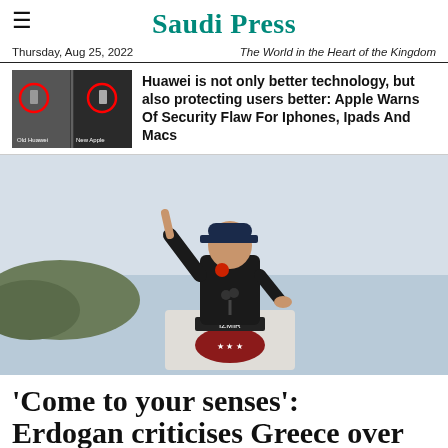Saudi Press
Thursday, Aug 25, 2022   The World in the Heart of the Kingdom
Huawei is not only better technology, but also protecting users better: Apple Warns Of Security Flaw For Iphones, Ipads And Macs
[Figure (photo): Erdogan speaking at a podium labeled IZMIR, pointing finger upward, with sea and coastline in background]
‘Come to your senses’: Erdogan criticises Greece over